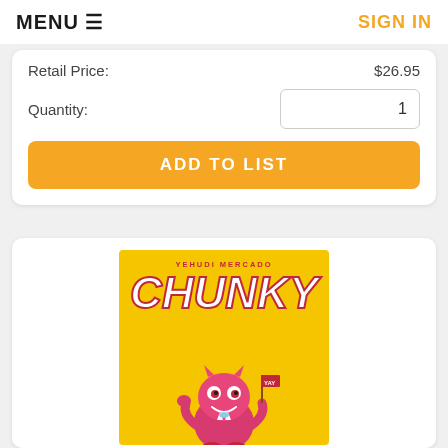MENU ☰   SIGN IN
Retail Price: $26.95
Quantity: 1
ADD TO LIST
[Figure (illustration): Book cover for 'CHUNKY' by Yehudi Mercado. Yellow background with large white stylized text 'CHUNKY' arched at the top with red outline. Below the title is a pink/magenta cartoon monster character holding a flag that says 'YAY'. The author name 'YEHUDI MERCADO' appears at the top in red capital letters.]